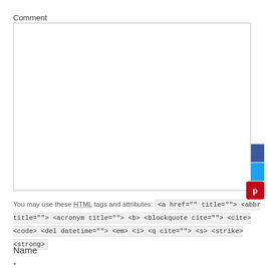Comment
[Figure (other): Empty textarea input field for comment entry]
You may use these HTML tags and attributes: <a href="" title=""> <abbr title=""> <acronym title=""> <b> <blockquote cite=""> <cite> <code> <del datetime=""> <em> <i> <q cite=""> <s> <strike> <strong>
Name
*